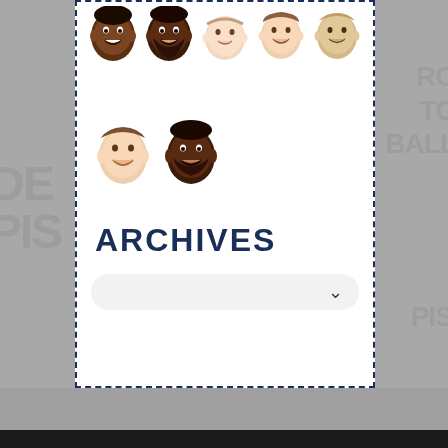[Figure (illustration): Seven illustrated cartoon face icons of basketball players/people arranged in two rows inside a white card with dashed navy border. Top row has 5 faces, second row has 2 faces.]
ARCHIVES
[Figure (screenshot): Dropdown/select input element with light grey background and rounded corners, containing a chevron/arrow icon on the right side.]